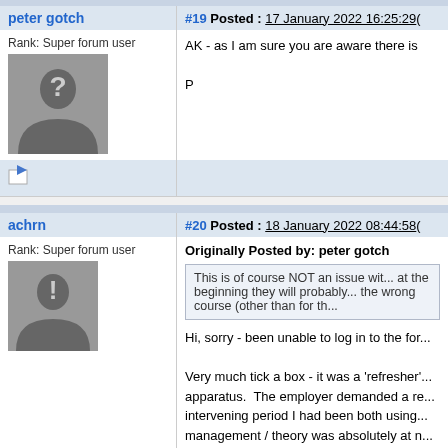peter gotch
#19 Posted : 17 January 2022 16:25:29
Rank: Super forum user
AK - as I am sure you are aware there is

P
achrn
#20 Posted : 18 January 2022 08:44:58
Rank: Super forum user
Originally Posted by: peter gotch
This is of course NOT an issue wit... at the beginning they will probably... the wrong course (other than for th...
Hi, sorry - been unable to log in to the for...

Very much tick a box - it was a 'refresher'... apparatus. The employer demanded a re... intervening period I had been both using... management / theory was absolutely at n...